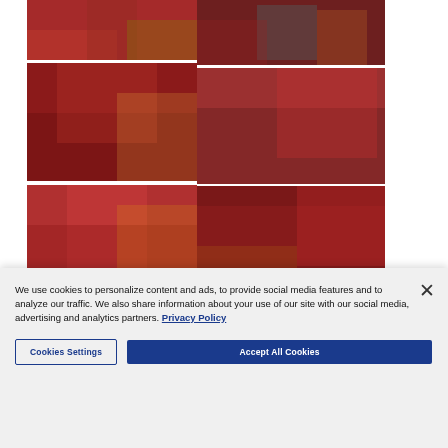[Figure (photo): Football game action photo - players on field in red uniforms]
[Figure (photo): Football player #8 in close-up during game]
[Figure (photo): Wide view of football stadium with players in red uniforms]
[Figure (photo): Close-up of fans in crowd at football game]
[Figure (photo): Football player #8 in red uniform running with ball]
[Figure (photo): Wide stadium crowd shot during football game]
[Figure (photo): Partial view of stadium crowd]
We use cookies to personalize content and ads, to provide social media features and to analyze our traffic. We also share information about your use of our site with our social media, advertising and analytics partners. Privacy Policy
Cookies Settings
Accept All Cookies